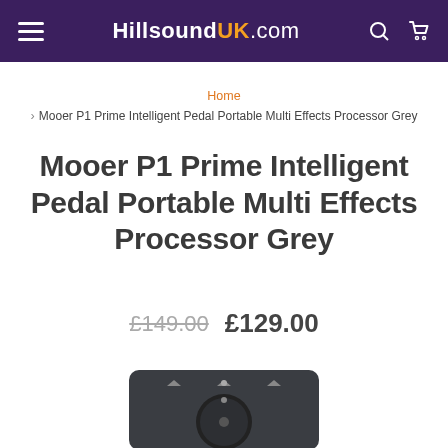HillsoundUK.com
Home > Mooer P1 Prime Intelligent Pedal Portable Multi Effects Processor Grey
Mooer P1 Prime Intelligent Pedal Portable Multi Effects Processor Grey
£149.00  £129.00
[Figure (photo): Bottom portion of a dark grey Mooer P1 Prime guitar effects pedal showing top panel with knobs and buttons]